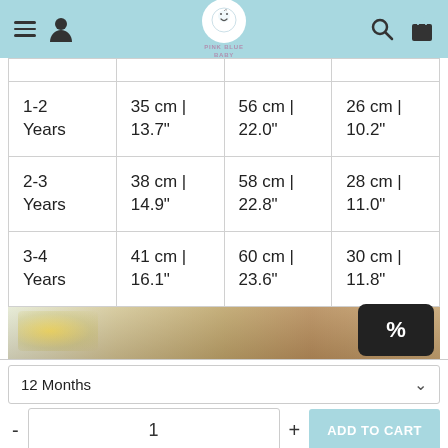Pink Blue Baby — navigation header with menu, account, logo, search, and cart icons
|  |  |  |  |
| --- | --- | --- | --- |
| 1-2 Years | 35 cm | 13.7" | 56 cm | 22.0" | 26 cm | 10.2" |
| 2-3 Years | 38 cm | 14.9" | 58 cm | 22.8" | 28 cm | 11.0" |
| 3-4 Years | 41 cm | 16.1" | 60 cm | 23.6" | 30 cm | 11.8" |
[Figure (photo): Partial photo strip showing flowers and wooden surface]
12 Months
- 1 +  ADD TO CART